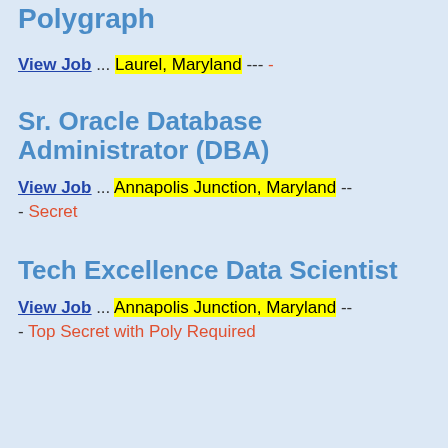Polygraph
View Job ... Laurel, Maryland --- -
Sr. Oracle Database Administrator (DBA)
View Job ... Annapolis Junction, Maryland -- - Secret
Tech Excellence Data Scientist
View Job ... Annapolis Junction, Maryland -- - Top Secret with Poly Required